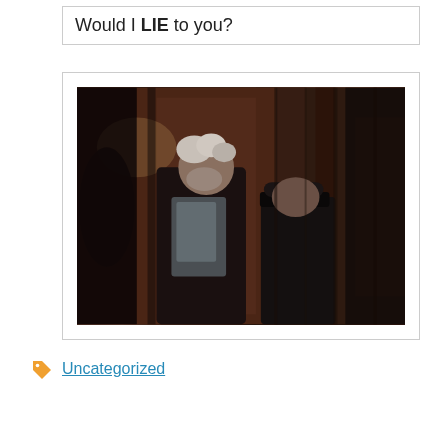Would I LIE to you?
[Figure (photo): Two men standing together in a dark indoor setting. The taller man on the left has white/grey hair and a beard, wearing a dark jacket. The shorter man on the right wears a dark cap and dark jacket. The background is dark reddish-brown.]
🏷 Uncategorized